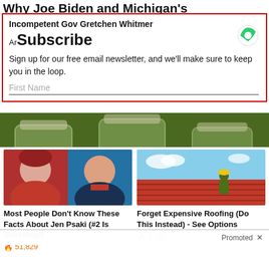Why Joe Biden and Michigan's Incompetent Gov Gretchen Whitmer Are...
Subscribe
Sign up for our free email newsletter, and we'll make sure to keep you in the loop.
First Name
[Figure (photo): Jars of pickled cucumbers with lemon slices, background image]
Promoted ×
[Figure (photo): Side-by-side photo of Jen Psaki and Donald Trump]
Most People Don't Know These Facts About Jen Psaki (#2 Is Shocking!)
🔥 51,829
[Figure (photo): Workers on a red tile roof]
Forget Expensive Roofing (Do This Instead) - See Options
🔥 1,260